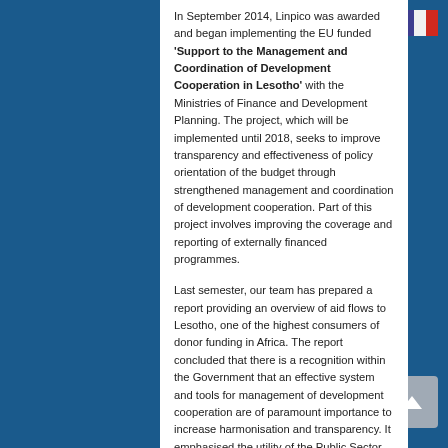In September 2014, Linpico was awarded and began implementing the EU funded 'Support to the Management and Coordination of Development Cooperation in Lesotho' with the Ministries of Finance and Development Planning. The project, which will be implemented until 2018, seeks to improve transparency and effectiveness of policy orientation of the budget through strengthened management and coordination of development cooperation. Part of this project involves improving the coverage and reporting of externally financed programmes.
Last semester, our team has prepared a report providing an overview of aid flows to Lesotho, one of the highest consumers of donor funding in Africa. The report concluded that there is a recognition within the Government that an effective system and tools for management of development cooperation are of paramount importance to increase harmonisation and transparency. It emphasised the utility of the Public Sector